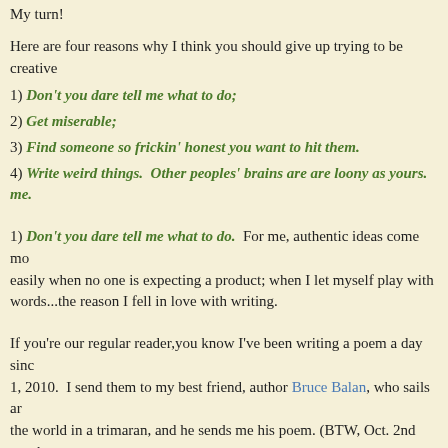My turn!
Here are four reasons why I think you should give up trying to be creative
1) Don't you dare tell me what to do;
2) Get miserable;
3) Find someone so frickin' honest you want to hit them.
4) Write weird things.  Other peoples' brains are are loony as yours. me.
1) Don't you dare tell me what to do.  For me, authentic ideas come mo easily when no one is expecting a product; when I let myself play with words...the reason I fell in love with writing.
If you're our regular reader,you know I've been writing a poem a day sinc 1, 2010.  I send them to my best friend, author Bruce Balan, who sails ar the world in a trimaran, and he sends me his poem. (BTW, Oct. 2nd was h birthday. Since it's past his birthday, kindly sing to him the Birthday Song...backwards.)